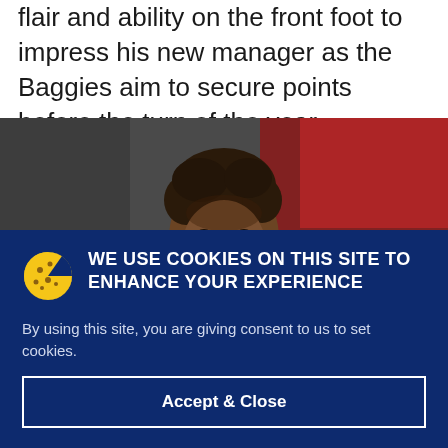flair and ability on the front foot to impress his new manager as the Baggies aim to secure points before the turn of the year.
[Figure (photo): Close-up photo of a football player with curly hair, blurred red and dark background]
WE USE COOKIES ON THIS SITE TO ENHANCE YOUR EXPERIENCE
By using this site, you are giving consent to us to set cookies.
Accept & Close